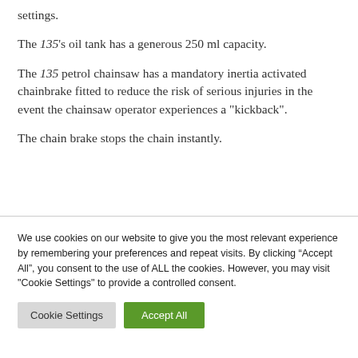settings.
The 135's oil tank has a generous 250 ml capacity.
The 135 petrol chainsaw has a mandatory inertia activated chainbrake fitted to reduce the risk of serious injuries in the event the chainsaw operator experiences a "kickback".
The chain brake stops the chain instantly.
We use cookies on our website to give you the most relevant experience by remembering your preferences and repeat visits. By clicking “Accept All”, you consent to the use of ALL the cookies. However, you may visit "Cookie Settings" to provide a controlled consent.